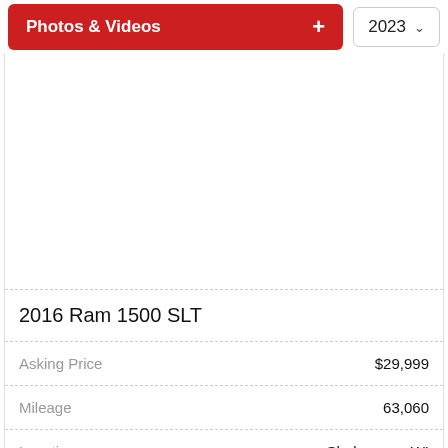Photos & Videos
2023
2016 Ram 1500 SLT
| Field | Value |
| --- | --- |
| Asking Price | $29,999 |
| Mileage | 63,060 |
| Location | Sheboygan, WI |